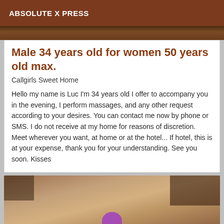ABSOLUTE X PRESS
[Figure (photo): Top partial photo, dark brown tones]
Male 34 years old for women 50 years old max.
Callgirls Sweet Home
Hello my name is Luc I'm 34 years old I offer to accompany you in the evening, I perform massages, and any other request according to your desires. You can contact me now by phone or SMS. I do not receive at my home for reasons of discretion. Meet wherever you want, at home or at the hotel... If hotel, this is at your expense, thank you for your understanding. See you soon. Kisses
[Figure (photo): Bottom partial photo showing a surface with a purple object, warm brown tones]